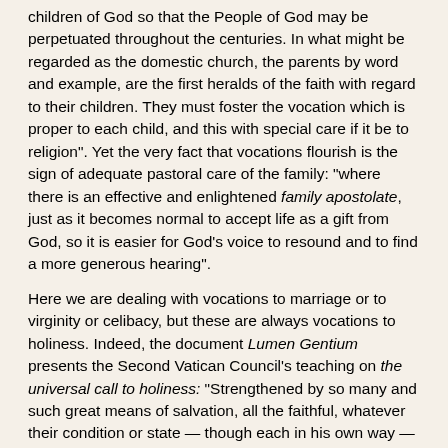children of God so that the People of God may be perpetuated throughout the centuries. In what might be regarded as the domestic church, the parents by word and example, are the first heralds of the faith with regard to their children. They must foster the vocation which is proper to each child, and this with special care if it be to religion". Yet the very fact that vocations flourish is the sign of adequate pastoral care of the family: "where there is an effective and enlightened family apostolate, just as it becomes normal to accept life as a gift from God, so it is easier for God's voice to resound and to find a more generous hearing".
Here we are dealing with vocations to marriage or to virginity or celibacy, but these are always vocations to holiness. Indeed, the document Lumen Gentium presents the Second Vatican Council's teaching on the universal call to holiness: "Strengthened by so many and such great means of salvation, all the faithful, whatever their condition or state — though each in his own way — are called by the Lord to that perfection of sanctity by which the Father himself is perfect".
1. The Vocation to Marriage
27. Formation for true love is always the best preparation for the vocation to marriage. In the family, children and young people can learn to live human sexuality within the solid context of Christian life. They can gradually discover that a stable Christian marriage cannot be regarded as a